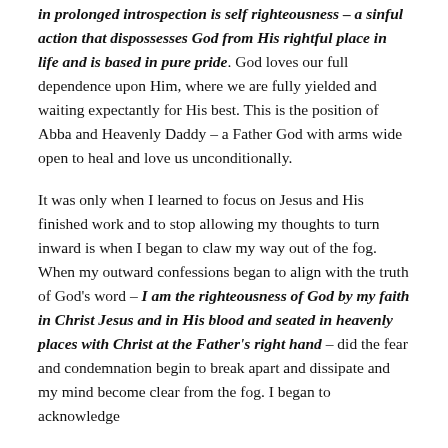in prolonged introspection is self righteousness – a sinful action that dispossesses God from His rightful place in life and is based in pure pride. God loves our full dependence upon Him, where we are fully yielded and waiting expectantly for His best. This is the position of Abba and Heavenly Daddy – a Father God with arms wide open to heal and love us unconditionally.

It was only when I learned to focus on Jesus and His finished work and to stop allowing my thoughts to turn inward is when I began to claw my way out of the fog. When my outward confessions began to align with the truth of God's word – I am the righteousness of God by my faith in Christ Jesus and in His blood and seated in heavenly places with Christ at the Father's right hand – did the fear and condemnation begin to break apart and dissipate and my mind become clear from the fog. I began to acknowledge